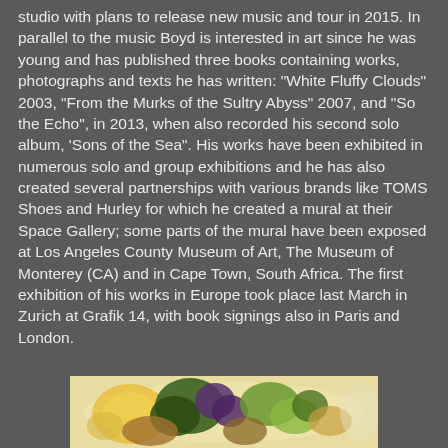studio with plans to release new music and tour in 2015. In parallel to the music Boyd is interested in art since he was young and has published three books containing works, photographs and texts he has written: "White Fluffy Clouds" 2003, "From the Murks of the Sultry Abyss" 2007, and "So the Echo", in 2013, when also recorded his second solo album, 'Sons of the Sea". His works have been exhibited in numerous solo and group exhibitions and he has also created several partnerships with various brands like TOMS Shoes and Hurley for which he created a mural at their Space Gallery; some parts of the mural have been exposed at Los Angeles County Museum of Art, The Museum of Monterey (CA) and in Cape Town, South Africa. The first exhibition of his works in Europe took place last March in Zurich at Grafik 14, with book signings also in Paris and London.
[Figure (illustration): Colorful illustration showing decorative floral or organic forms with greens, yellows, purples and browns on a light background, partially visible at the bottom of the page.]